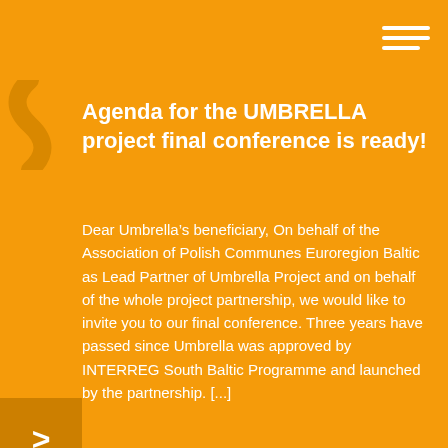[Figure (illustration): Hamburger menu icon with three horizontal white lines in top-right corner]
[Figure (illustration): Decorative wave/squiggle on the left side of the page in a slightly darker orange]
Agenda for the UMBRELLA project final conference is ready!
Dear Umbrella’s beneficiary, On behalf of the Association of Polish Communes Euroregion Baltic as Lead Partner of Umbrella Project and on behalf of the whole project partnership, we would like to invite you to our final conference. Three years have passed since Umbrella was approved by INTERREG South Baltic Programme and launched by the partnership. [...]
[Figure (illustration): Orange arrow button (>) in a darker orange square on the left side]